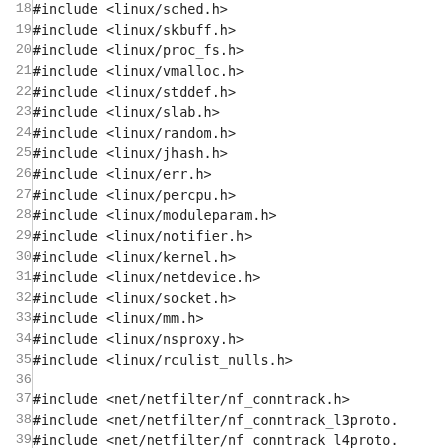Code listing showing #include directives for Linux kernel headers (lines 18-47), including linux/ and net/netfilter/ headers.